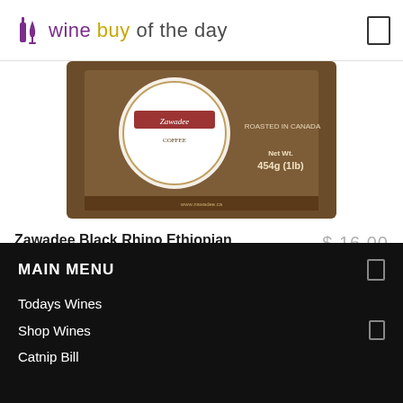wine buy of the day
[Figure (photo): Product image of Zawadee Black Rhino Ethiopian Coffee 454g (1lb) bag with brown packaging and circular logo]
Zawadee Black Rhino Ethiopian Coffee | 16oz
$ 16.00
Coffee | Beans & Ground
MAIN MENU
Todays Wines
Shop Wines
Catnip Bill